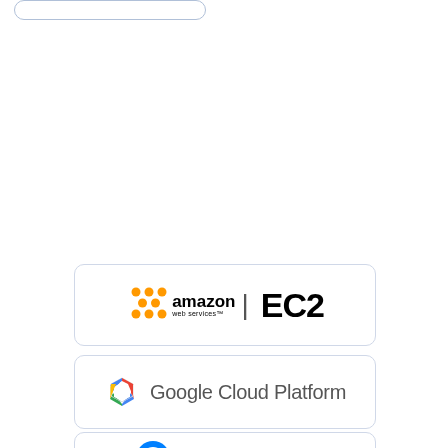[Figure (logo): Partial card visible at top of page, rounded rectangle outline]
[Figure (logo): Amazon Web Services EC2 logo inside rounded rectangle card]
[Figure (logo): Google Cloud Platform logo inside rounded rectangle card]
[Figure (logo): DigitalOcean logo inside rounded rectangle card, partially visible]